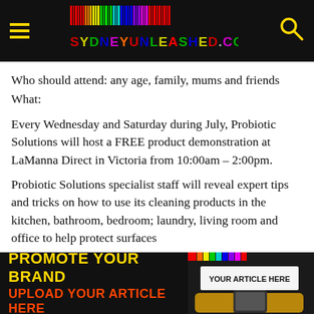SYDNEYUNLEASHED.COM
Who should attend: any age, family, mums and friends
What:
Every Wednesday and Saturday during July, Probiotic Solutions will host a FREE product demonstration at LaManna Direct in Victoria from 10:00am – 2:00pm.
Probiotic Solutions specialist staff will reveal expert tips and tricks on how to use its cleaning products in the kitchen, bathroom, bedroom; laundry, living room and office to help protect surfaces
PROMOTE YOUR BRAND
UPLOAD YOUR ARTICLE HERE
YOUR ARTICLE HERE